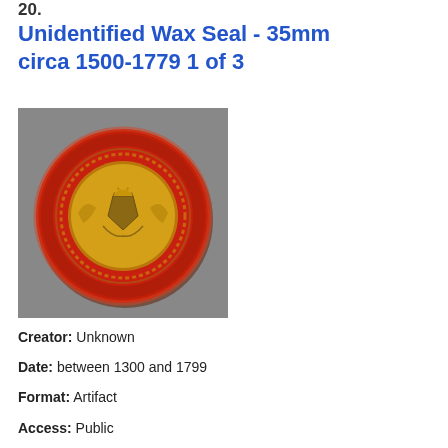20.
Unidentified Wax Seal - 35mm circa 1500-1779 1 of 3
[Figure (photo): A red wax seal approximately 35mm in diameter with a golden heraldic coat of arms design embossed in the center, photographed on a grey background.]
Creator: Unknown
Date: between 1300 and 1799
Format: Artifact
Access: Public